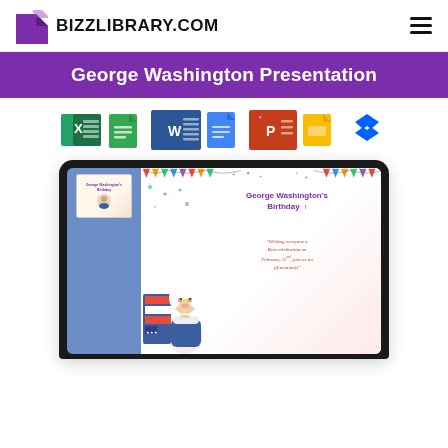BIZZLIBRARY.COM
George Washington Presentation
[Figure (infographic): Row of app/format icons: Excel, Google Sheets, Word, Google Docs, PowerPoint, Google Slides, Dropbox]
[Figure (screenshot): Laptop screen showing a PowerPoint presentation preview of 'George Washington's Birthday' with a cartoon illustration of George Washington, confetti decorations, and italic text reading 'Wishing everyone a Best celebration on February 22nd, join us on ((Location))']